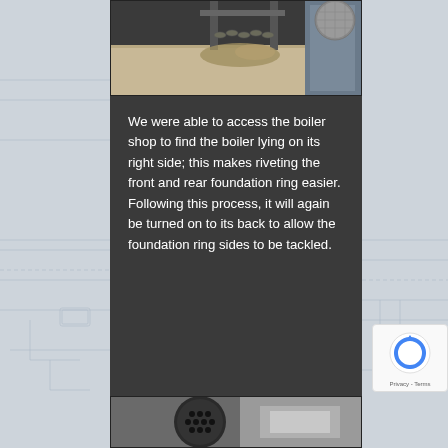[Figure (photo): Photo of boiler riveting work in a workshop, showing chains and metalwork components on a workbench]
We were able to access the boiler shop to find the boiler lying on its right side; this makes riveting the front and rear foundation ring easier. Following this process, it will again be turned on to its back to allow the foundation ring sides to be tackled.
[Figure (photo): Photo of a boiler component, showing a circular perforated plate or smokebox tubeplate with multiple holes]